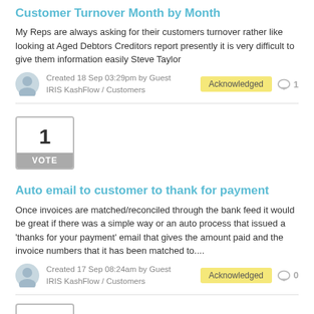Customer Turnover Month by Month
My Reps are always asking for their customers turnover rather like looking at Aged Debtors Creditors report presently it is very difficult to give them information easily Steve Taylor
Created 18 Sep 03:29pm by Guest
IRIS KashFlow / Customers
Acknowledged   1
[Figure (other): Vote box with number 1 and VOTE label]
Auto email to customer to thank for payment
Once invoices are matched/reconciled through the bank feed it would be great if there was a simple way or an auto process that issued a 'thanks for your payment' email that gives the amount paid and the invoice numbers that it has been matched to....
Created 17 Sep 08:24am by Guest
IRIS KashFlow / Customers
Acknowledged   0